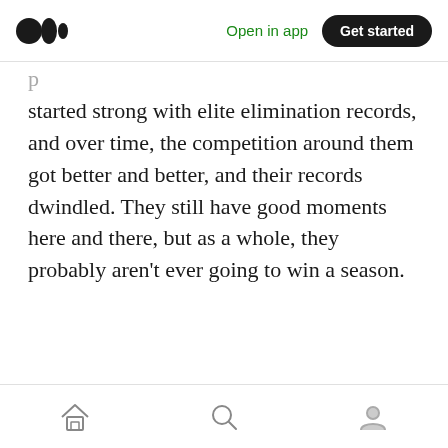Medium logo | Open in app | Get started
started strong with elite elimination records, and over time, the competition around them got better and better, and their records dwindled. They still have good moments here and there, but as a whole, they probably aren't ever going to win a season.
Home | Search | Profile